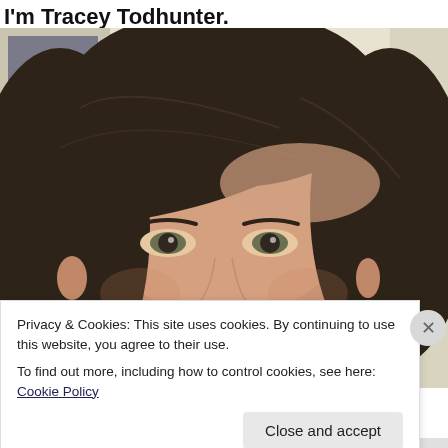I'm Tracey Todhunter.
[Figure (photo): Close-up selfie of a woman with dark brown hair with bangs, looking at the camera, against a light beige/cream background. A dark framed picture is partially visible in the upper left.]
Privacy & Cookies: This site uses cookies. By continuing to use this website, you agree to their use.
To find out more, including how to control cookies, see here: Cookie Policy
Close and accept